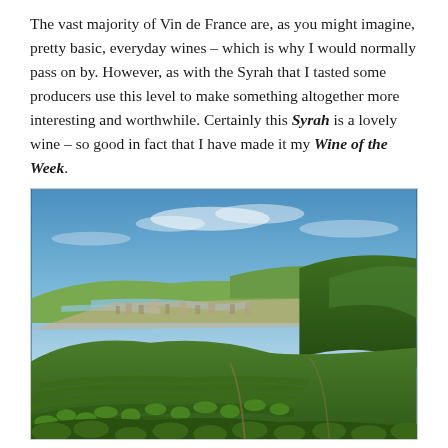The vast majority of Vin de France are, as you might imagine, pretty basic, everyday wines – which is why I would normally pass on by. However, as with the Syrah that I tasted some producers use this level to make something altogether more interesting and worthwhile. Certainly this Syrah is a lovely wine – so good in fact that I have made it my Wine of the Week.
[Figure (photo): Aerial landscape photograph of vineyard-covered hillsides with a town and river valley visible in the background under a blue sky with light clouds, likely in the Rhône Valley wine region of France.]